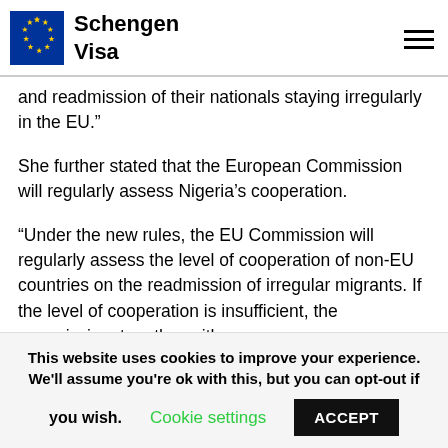Schengen Visa
and readmission of their nationals staying irregularly in the EU.”
She further stated that the European Commission will regularly assess Nigeria’s cooperation.
“Under the new rules, the EU Commission will regularly assess the level of cooperation of non-EU countries on the readmission of irregular migrants. If the level of cooperation is insufficient, the commission, together with
This website uses cookies to improve your experience. We’ll assume you’re ok with this, but you can opt-out if you wish. Cookie settings ACCEPT